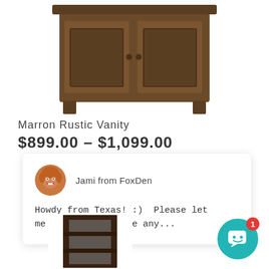[Figure (photo): Dark wood rustic vanity cabinet with two raised panel doors, shown from above on white background]
Marron Rustic Vanity
$899.00 – $1,099.00
[Figure (screenshot): Chat popup widget with agent photo of woman with blonde hair and text: Jami from FoxDen — Howdy from Texas! :)  Please let me know if you have any...]
[Figure (photo): Dark wood narrow bookshelf with three open shelves, shown on white background]
[Figure (screenshot): Teal chat button circle with white speech bubble icon and red badge showing number 1]